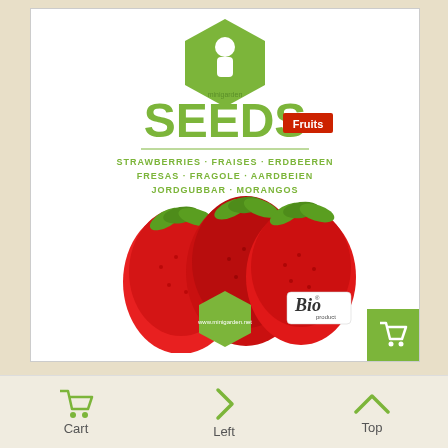[Figure (photo): Product photo of Minigarden strawberry seeds package. White cylindrical container with green hexagonal logo at top, large green 'SEEDS' text, red 'Fruits' label, multilingual text listing strawberries in various languages, and photo of red strawberries. Bio product label at bottom right.]
Strawberries, Minigarden Seeds
Cart  Left  Top